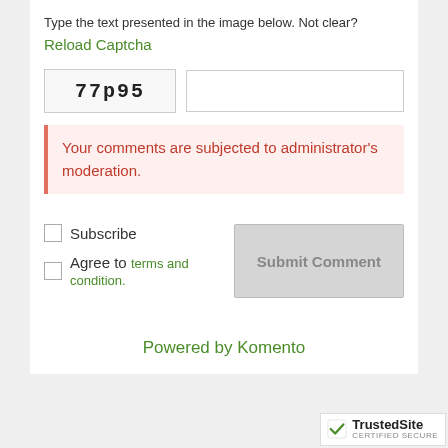Type the text presented in the image below. Not clear?
Reload Captcha
[Figure (other): CAPTCHA image showing distorted text '77p95' in a bordered box, alongside an empty text input field]
Your comments are subjected to administrator's moderation.
Subscribe
Agree to terms and condition.
Submit Comment
Powered by Komento
[Figure (logo): TrustedSite CERTIFIED SECURE badge with green checkmark]